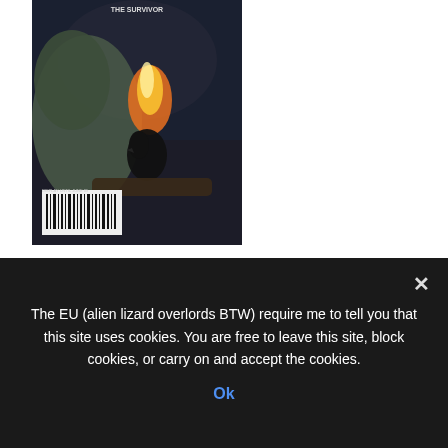[Figure (illustration): Cover of The Magazine of Fantasy and Science Fiction May/June 2014, showing a dark fantasy scene with a bird near flames, a barcode visible at the bottom left, and text at the top reading the magazine title.]
F&SF   MAGAZINES   REVIEWS
The Magazine of Fantasy and Science Fiction, May/June 2014
The EU (alien lizard overlords BTW) require me to tell you that this site uses cookies. You are free to leave this site, block cookies, or carry on and accept the cookies.
Ok